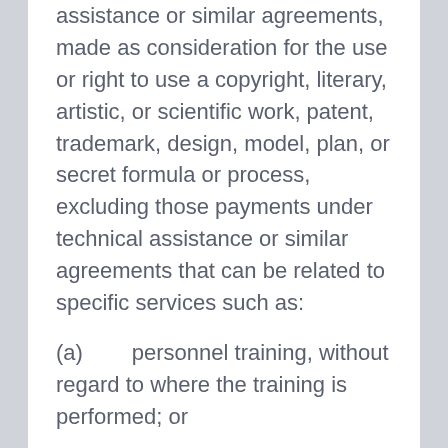assistance or similar agreements, made as consideration for the use or right to use a copyright, literary, artistic, or scientific work, patent, trademark, design, model, plan, or secret formula or process, excluding those payments under technical assistance or similar agreements that can be related to specific services such as:
(a)       personnel training, without regard to where the training is performed; or
(b)       if performed in the territory of one or more of the Parties, engineering, tooling, die- setting, software design and similar computer services, or other